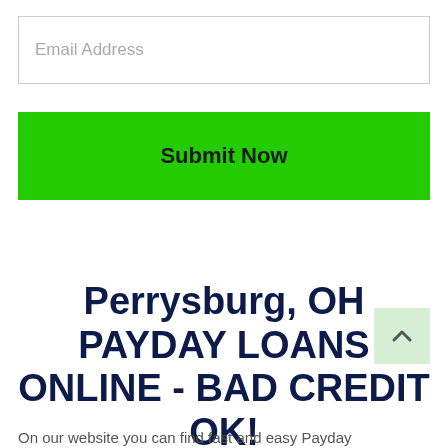[Figure (screenshot): Email Address input field with light gray border and placeholder text]
[Figure (screenshot): Green Submit Now button]
Perrysburg, OH PAYDAY LOANS ONLINE - BAD CREDIT OK!
On our website you can find fast and easy Payday